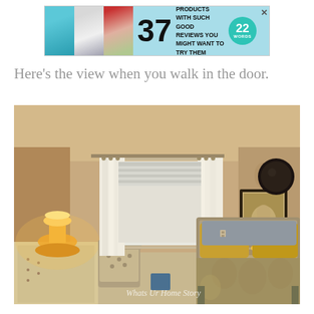[Figure (other): Advertisement banner for '37 Beauty Products With Such Good Reviews You Might Want To Try Them Yourself' from 22Words, featuring product photos on a teal background]
Here's the view when you walk in the door.
[Figure (photo): Interior bedroom photo showing a master bedroom with beige/tan walls, white curtains, a metal bed frame with gray and yellow bedding, yellow lamp on dresser, patterned chair, round dark mirror on wall, framed art, and bedside lamp. Watermark reads 'Whats Ur Home Story']